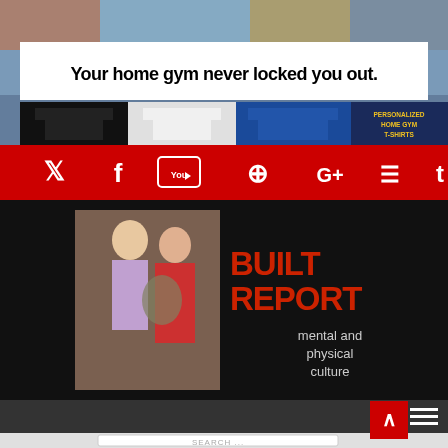[Figure (illustration): Home gym t-shirt advertisement banner with text 'Your home gym never locked you out.' and three t-shirts shown (black, white, blue) with 'PERSONALIZED HOME GYM T-SHIRTS' text in yellow]
[Figure (infographic): Red social media bar with icons for Twitter, Facebook, YouTube, Pinterest, Google+, RSS, and Tumblr]
[Figure (logo): Built Report logo with classical painting image of warrior figure on left and 'BUILT REPORT mental and physical culture' text on right in red and grey on black background]
[Figure (screenshot): Dark grey navigation bar with hamburger menu icon on right, and partial search bar below]